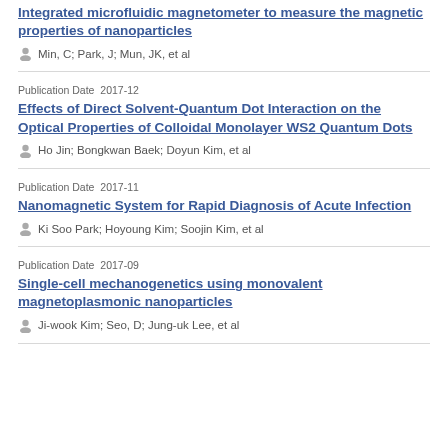Integrated microfluidic magnetometer to measure the magnetic properties of nanoparticles
Min, C; Park, J; Mun, JK, et al
Publication Date  2017-12
Effects of Direct Solvent-Quantum Dot Interaction on the Optical Properties of Colloidal Monolayer WS2 Quantum Dots
Ho Jin; Bongkwan Baek; Doyun Kim, et al
Publication Date  2017-11
Nanomagnetic System for Rapid Diagnosis of Acute Infection
Ki Soo Park; Hoyoung Kim; Soojin Kim, et al
Publication Date  2017-09
Single-cell mechanogenetics using monovalent magnetoplasmonic nanoparticles
Ji-wook Kim; Seo, D; Jung-uk Lee, et al